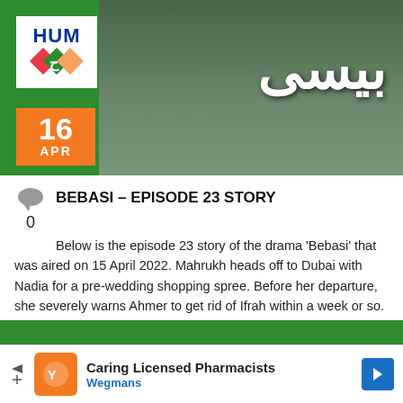[Figure (photo): TV drama Bebasi promotional banner with HUM TV logo, date badge showing 16 APR in orange, Urdu title text, and people in background on green backdrop]
BEBASI – EPISODE 23 STORY
Below is the episode 23 story of the drama 'Bebasi' that was aired on 15 April 2022. Mahrukh heads off to Dubai with Nadia for a pre-wedding shopping spree. Before her departure, she severely warns Ahmer to get rid of Ifrah within a week or so. In the interim, Ifrah is to stay at her [...]
[Figure (photo): Partial green strip at bottom, beginning of another article/image]
Caring Licensed Pharmacists
Wegmans